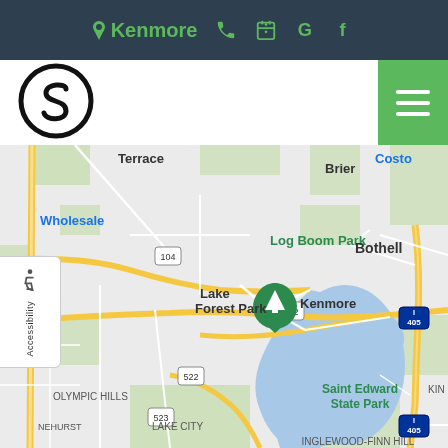Kenmore
[Figure (logo): Stylized circular S logo in black]
[Figure (map): Google Maps screenshot showing Kenmore, WA area with surrounding regions including Terrace, Brier, Lake Forest Park, Log Boom Park, Bothell, Saint Edward State Park, Olympic Hills, Lake City, Inglewood-Finn Hill. Shows highways 104, 522, 523, 405 and Interstate 5. A green map pin marks Kenmore. A lake/waterway runs through the center of the map.]